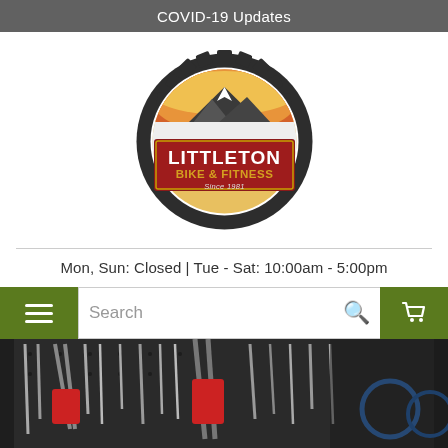COVID-19 Updates
[Figure (logo): Littleton Bike & Fitness circular gear logo with mountain landscape and red banner]
Mon, Sun: Closed | Tue - Sat: 10:00am - 5:00pm
[Figure (screenshot): Website navigation bar with hamburger menu (green), search field, search icon, and shopping cart (green)]
[Figure (photo): Photo of a bike repair shop tool wall with pliers and wrenches, person's hand visible, with 'Our Staff' text overlay]